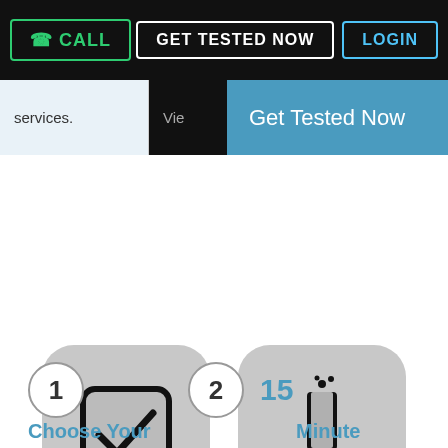CALL | GET TESTED NOW | LOGIN
services.  Vie  Get Tested Now
[Figure (infographic): Two rounded rectangle icon cards side by side on gray background. Left card shows a checkbox with checkmark icon labeled 'Select Test'. Right card shows a lab flask/beaker icon labeled 'Visit Lab'.]
1   2  15
Choose Your   Minute